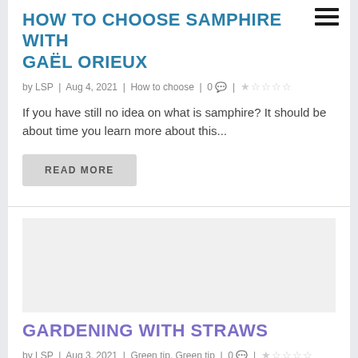HOW TO CHOOSE SAMPHIRE WITH GAËL ORIEUX
by LSP | Aug 4, 2021 | How to choose | 0 💬 | ★☆☆☆☆
If you have still no idea on what is samphire? It should be about time you learn more about this...
READ MORE
[Figure (photo): Blog post image placeholder for Gardening with Straws article]
GARDENING WITH STRAWS
by LSP | Aug 3, 2021 | Green tip, Green tip | 0 💬 | ★☆☆☆☆